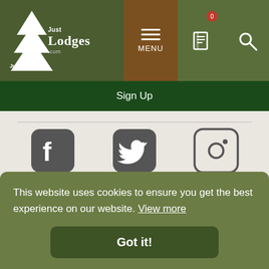Just Lodges .com — MENU navigation header
Sign Up
[Figure (logo): Facebook icon — rounded square with white F]
[Figure (logo): Twitter icon — rounded square with white bird]
[Figure (logo): Instagram icon — rounded square with camera outline]
Useful Links
Contact
Advertise with us
Sitemap
Terms & Conditions
This website uses cookies to ensure you get the best experience on our website. View more
Got it!